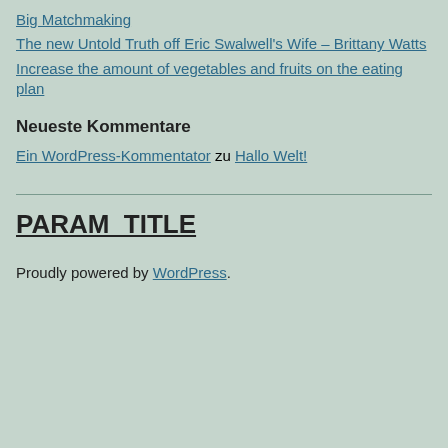Big Matchmaking
The new Untold Truth off Eric Swalwell's Wife – Brittany Watts
Increase the amount of vegetables and fruits on the eating plan
Neueste Kommentare
Ein WordPress-Kommentator zu Hallo Welt!
PARAM_TITLE
Proudly powered by WordPress.